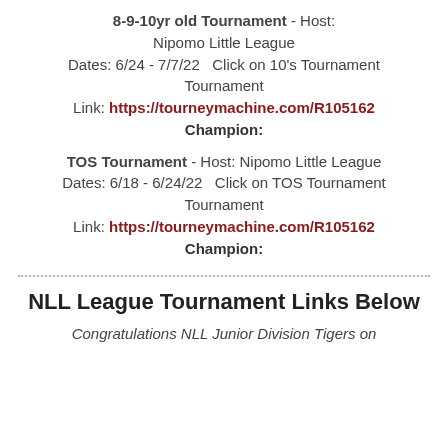8-9-10yr old Tournament - Host: Nipomo Little League Dates: 6/24 - 7/7/22   Click on 10's Tournament Tournament Link: https://tourneymachine.com/R105162 Champion:
TOS Tournament - Host: Nipomo Little League Dates: 6/18 - 6/24/22   Click on TOS Tournament Tournament Link: https://tourneymachine.com/R105162 Champion:
NLL League Tournament Links Below
Congratulations NLL Junior Division Tigers on